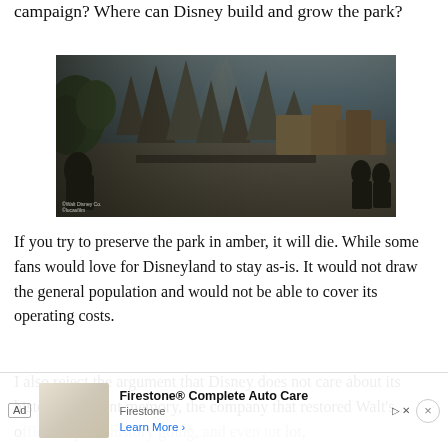campaign? Where can Disney build and grow the park?
[Figure (photo): Concept art of Star Wars: Galaxy's Edge theme park, showing alien landscape with rocky spires, futuristic buildings, and figures in the foreground]
If you try to preserve the park in amber, it will die. While some fans would love for Disneyland to stay as-is. It would not draw the general population and would not be able to cover its operating costs.
I also reject the argument that Disney does not care about its history. In recent memory, the company that restored Walt's office, kept its history going, and even tot lot, has op... the
[Figure (other): Advertisement banner for Firestone Complete Auto Care with store image, Learn More button, and close button]